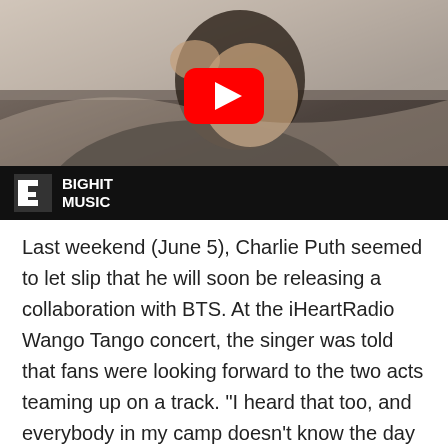[Figure (screenshot): YouTube video thumbnail showing a person touching their face, with a red YouTube play button in the center. Bottom has a black bar with BIGHIT MUSIC logo in white text.]
Last weekend (June 5), Charlie Puth seemed to let slip that he will soon be releasing a collaboration with BTS. At the iHeartRadio Wango Tango concert, the singer was told that fans were looking forward to the two acts teaming up on a track. “I heard that too, and everybody in my camp doesn’t know the day it comes out,” he responded.